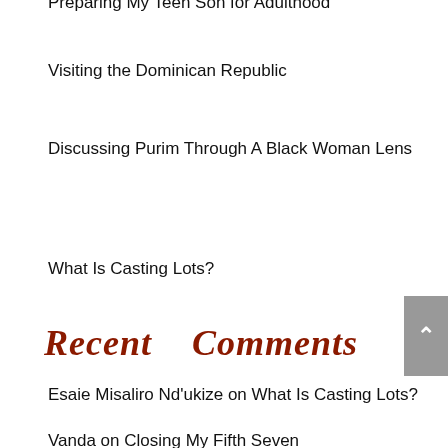Preparing My Teen Son for Adulthood
Visiting the Dominican Republic
Discussing Purim Through A Black Woman Lens
What Is Casting Lots?
Recent Comments
Esaie Misaliro Nd'ukize on What Is Casting Lots?
Vanda on Closing My Fifth Seven